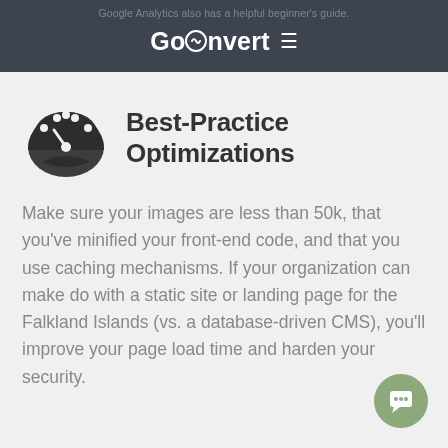Google Analytics also has a helpful beginner's guide.
GoConvert
Best-Practice Optimizations
Make sure your images are less than 50k, that you've minified your front-end code, and that you use caching mechanisms. If your organization can make do with a static site or landing page for the Falkland Islands (vs. a database-driven CMS), you'll improve your page load time and harden your security.